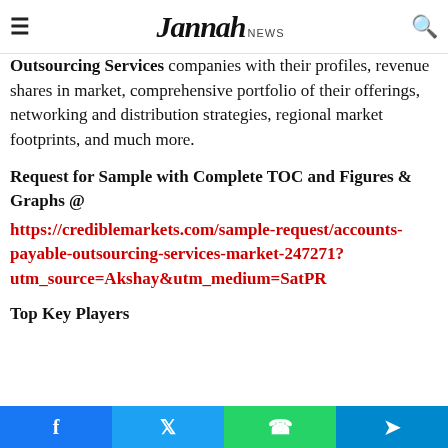Jannah news
to arrive at their decisions. Market structure ...Retail Accounts Payable Outsourcing Services companies with their profiles, revenue shares in market, comprehensive portfolio of their offerings, networking and distribution strategies, regional market footprints, and much more.
Request for Sample with Complete TOC and Figures & Graphs @
https://crediblemarkets.com/sample-request/accounts-payable-outsourcing-services-market-247271?utm_source=Akshay&utm_medium=SatPR
Top Key Players